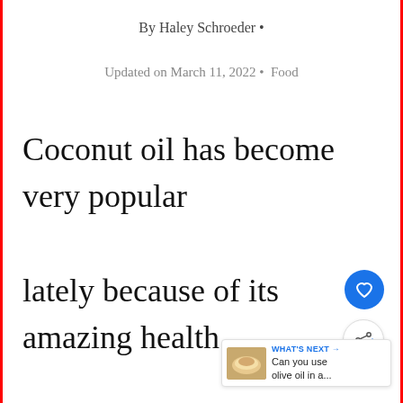By Haley Schroeder •
Updated on March 11, 2022 • Food
Coconut oil has become very popular lately because of its amazing health benefits.
Many people swear by using it
[Figure (other): Heart (like) button icon — blue circle with white heart]
[Figure (other): Share button icon — white circle with share symbol]
[Figure (other): "What's Next" widget showing a thumbnail image and text: "Can you use olive oil in a..."]